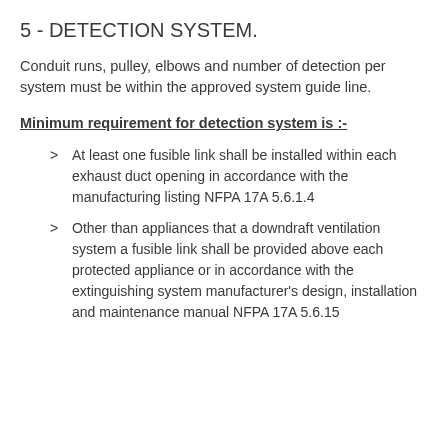5 - DETECTION SYSTEM.
Conduit runs, pulley, elbows and number of detection per system must be within the approved system guide line.
Minimum requirement for detection system is :-
At least one fusible link shall be installed within each exhaust duct opening in accordance with the manufacturing listing NFPA 17A 5.6.1.4
Other than appliances that a downdraft ventilation system a fusible link shall be provided above each protected appliance or in accordance with the extinguishing system manufacturer's design, installation and maintenance manual NFPA 17A 5.6.15